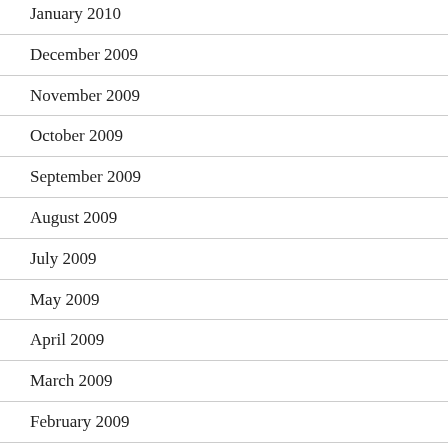January 2010
December 2009
November 2009
October 2009
September 2009
August 2009
July 2009
May 2009
April 2009
March 2009
February 2009
January 2009